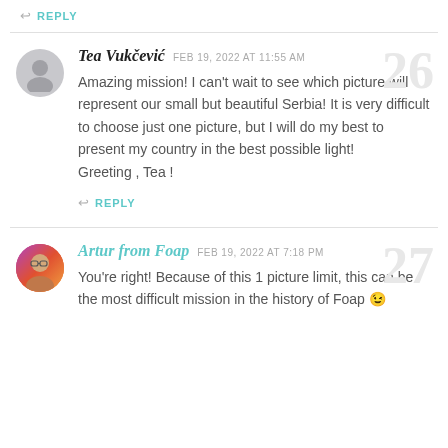↩ REPLY
Tea Vukčević   FEB 19, 2022 AT 11:55 AM
Amazing mission! I can't wait to see which picture will represent our small but beautiful Serbia! It is very difficult to choose just one picture, but I will do my best to present my country in the best possible light!
Greeting , Tea !
↩ REPLY
Artur from Foap   FEB 19, 2022 AT 7:18 PM
You're right! Because of this 1 picture limit, this can be the most difficult mission in the history of Foap 😉